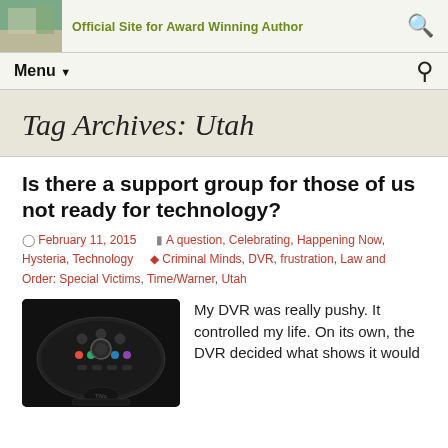Official Site for Award Winning Author
Menu
Tag Archives: Utah
Is there a support group for those of us not ready for technology?
February 11, 2015   A question, Celebrating, Happening Now, Hysteria, Technology   Criminal Minds, DVR, frustration, Law and Order: Special Victims, Time/Warner, Utah
[Figure (photo): Photo of a TiVo DVR remote control, black, sitting on a dark surface with a TiVo logo visible]
My DVR was really pushy.  It controlled my life.  On its own, the DVR decided what shows it would